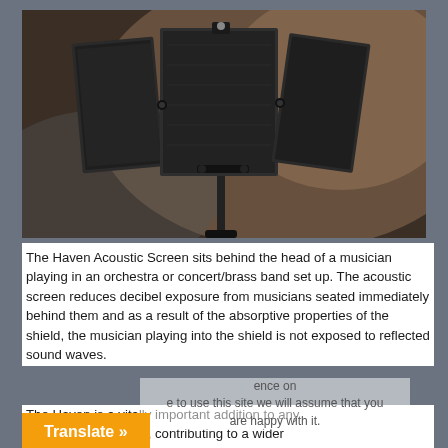[Figure (photo): An acoustic screen product (Haven Acoustic Screen) mounted on a stand. It consists of dark grey/black sound-absorbing panels arranged in a tri-fold configuration on a microphone-style stand, photographed against a dark gradient background.]
The Haven Acoustic Screen sits behind the head of a musician playing in an orchestra or concert/brass band set up. The acoustic screen reduces decibel exposure from musicians seated immediately behind them and as a result of the absorptive properties of the shield, the musician playing into the shield is not exposed to reflected sound waves.
The Haven is a vitally important addition to any [concert] band, contributing to a wider [campaign] against the hearing damage
ence on
we will assume that you
are happy with it.
Translate »